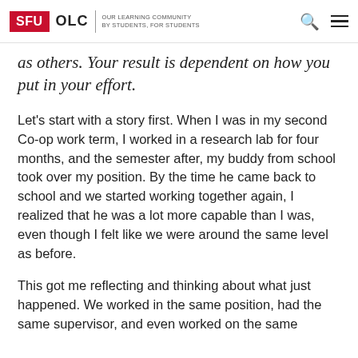SFU OLC | OUR LEARNING COMMUNITY BY STUDENTS, FOR STUDENTS
as others. Your result is dependent on how you put in your effort.
Let's start with a story first. When I was in my second Co-op work term, I worked in a research lab for four months, and the semester after, my buddy from school took over my position. By the time he came back to school and we started working together again, I realized that he was a lot more capable than I was, even though I felt like we were around the same level as before.
This got me reflecting and thinking about what just happened. We worked in the same position, had the same supervisor, and even worked on the same